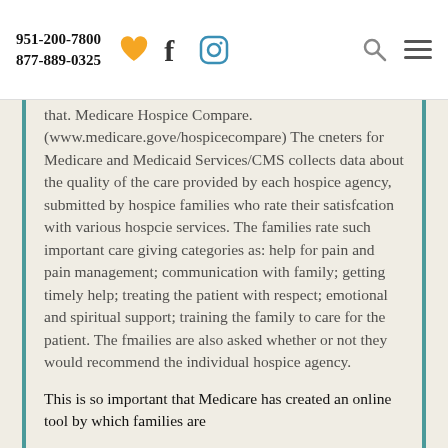951-200-7800  877-889-0325
(www.medicare.gove/hospicecompare) The cneters for Medicare and Medicaid Services/CMS collects data about the quality of the care provided by each hospice agency, submitted by hospice families who rate their satisfcation with various hospcie services. The families rate such important care giving categories as: help for pain and pain management; communication with family; getting timely help; treating the patient with respect; emotional and spiritual support; training the family to care for the patient. The fmailies are also asked whether or not they would recommend the individual hospice agency.
This is so important that Medicare has created an online tool by which families are